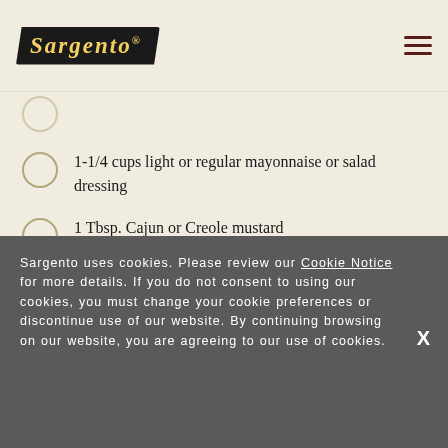Sargento
1-1/4 cups light or regular mayonnaise or salad dressing
1 Tbsp. Cajun or Creole mustard
Sargento uses cookies. Please review our Cookie Notice for more details. If you do not consent to using our cookies, you must change your cookie preferences or discontinue use of our website. By continuing browsing on our website, you are agreeing to our use of cookies.